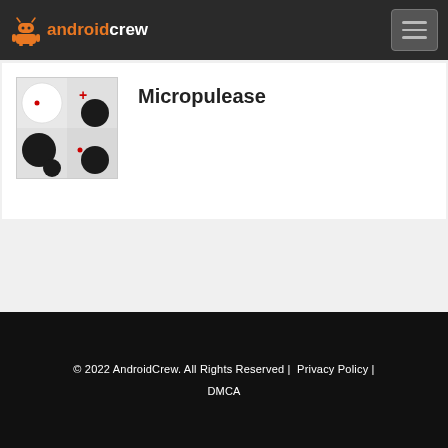androidcrew
[Figure (screenshot): App icon for Micropulease: a grid of circles on a grey background, some black and some white, with red dot markers and a red plus sign]
Micropulease
© 2022 AndroidCrew. All Rights Reserved | Privacy Policy | DMCA